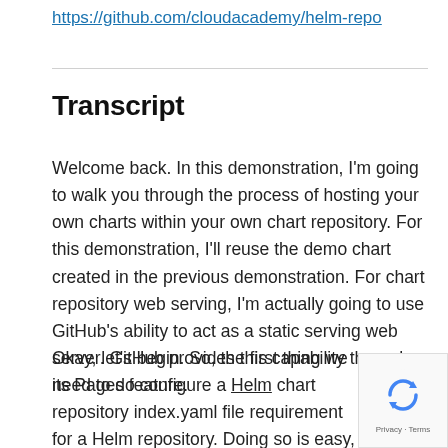https://github.com/cloudacademy/helm-repo
Transcript
Welcome back. In this demonstration, I'm going to walk you through the process of hosting your own charts within your own chart repository. For this demonstration, I'll reuse the demo chart created in the previous demonstration. For chart repository web serving, I'm actually going to use GitHub's ability to act as a static serving web server. GitHub provides this capability through its Pages feature.
Okay, let's begin. So, the first thing we need to do configure a Helm chart repository index.yaml file requirement for a Helm repository. Doing so is easy,